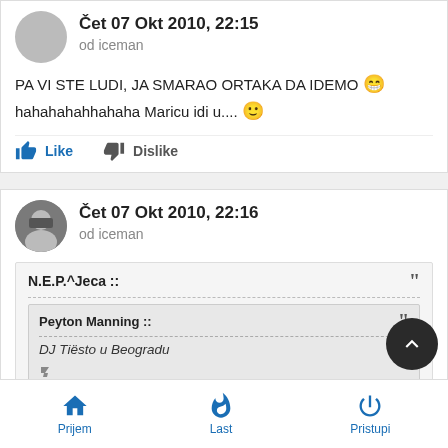Čet 07 Okt 2010, 22:15
od iceman
PA VI STE LUDI, JA SMARAO ORTAKA DA IDEMO 😁
hahahahahhahaha Maricu idi u.... 🙂
Like   Dislike
Čet 07 Okt 2010, 22:16
od iceman
N.E.P.^Jeca ::
Peyton Manning ::
DJ Tiësto u Beogradu